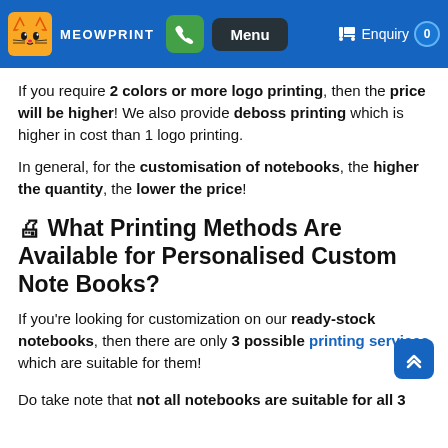MEOWPRINT — Menu — Enquiry 0
If you require 2 colors or more logo printing, then the price will be higher! We also provide deboss printing which is higher in cost than 1 logo printing.
In general, for the customisation of notebooks, the higher the quantity, the lower the price!
🖨 What Printing Methods Are Available for Personalised Custom Note Books?
If you're looking for customization on our ready-stock notebooks, then there are only 3 possible printing services which are suitable for them!
Do take note that not all notebooks are suitable for all 3